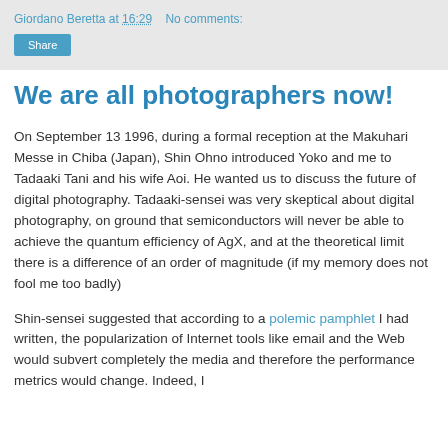Giordano Beretta at 16:29   No comments:
We are all photographers now!
On September 13 1996, during a formal reception at the Makuhari Messe in Chiba (Japan), Shin Ohno introduced Yoko and me to Tadaaki Tani and his wife Aoi. He wanted us to discuss the future of digital photography. Tadaaki-sensei was very skeptical about digital photography, on ground that semiconductors will never be able to achieve the quantum efficiency of AgX, and at the theoretical limit there is a difference of an order of magnitude (if my memory does not fool me too badly)
Shin-sensei suggested that according to a polemic pamphlet I had written, the popularization of Internet tools like email and the Web would subvert completely the media and therefore the performance metrics would change. Indeed, I